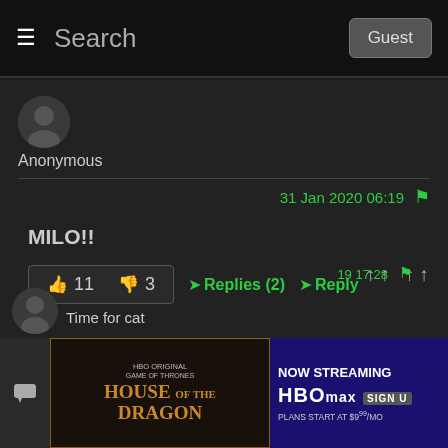≡ Search  Guest
[Figure (illustration): Anonymous user avatar - dark circular icon with silhouette]
Anonymous
31 Jan 2020 06:19  🚩
MILO!!
👍 11   👎 3   ➜Replies (2)  ➜Reply
↑↑ ↑↑
[Figure (illustration): Second anonymous user avatar - dark circular icon with silhouette]
...19 17:28  🚩
Time for cat
[Figure (illustration): Advertisement banner: HBO Original House of the Dragon - Now Streaming on HBOmax, Plans start at $9/mo]